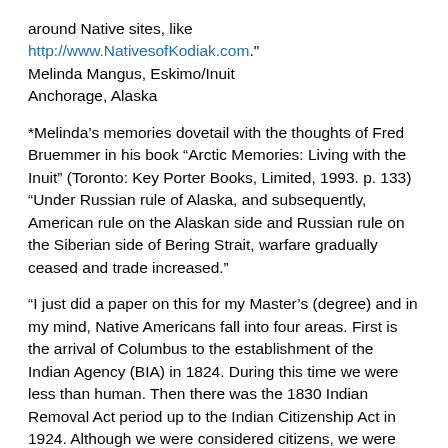around Native sites, like http://www.NativesofKodiak.com."
Melinda Mangus, Eskimo/Inuit
Anchorage, Alaska
*Melinda’s memories dovetail with the thoughts of Fred Bruemmer in his book “Arctic Memories: Living with the Inuit” (Toronto: Key Porter Books, Limited, 1993. p. 133) “Under Russian rule of Alaska, and subsequently, American rule on the Alaskan side and Russian rule on the Siberian side of Bering Strait, warfare gradually ceased and trade increased.”
“I just did a paper on this for my Master’s (degree) and in my mind, Native Americans fall into four areas. First is the arrival of Columbus to the establishment of the Indian Agency (BIA) in 1824. During this time we were less than human. Then there was the 1830 Indian Removal Act period up to the Indian Citizenship Act in 1924. Although we were considered citizens, we were not considered civilized. Many of our People alive during this time were survivors of the Indian wars and carried their scars proudly. Grandfather